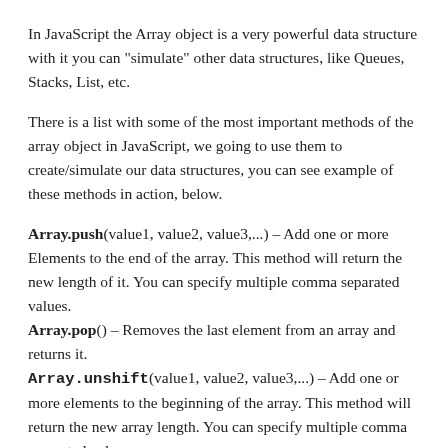In JavaScript the Array object is a very powerful data structure with it you can "simulate" other data structures, like Queues, Stacks, List, etc.
There is a list with some of the most important methods of the array object in JavaScript, we going to use them to create/simulate our data structures, you can see example of these methods in action, below.
Array.push(value1, value2, value3,...) – Add one or more Elements to the end of the array. This method will return the new length of it. You can specify multiple comma separated values.
Array.pop() – Removes the last element from an array and returns it.
Array.unshift(value1, value2, value3,...) – Add one or more elements to the beginning of the array. This method will return the new array length. You can specify multiple comma separated values.
Array.shift() – Removes the first element from an